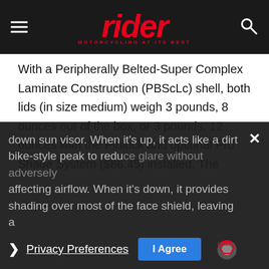rider — MOTORCYCLING AT ITS BEST
With a Peripherally Belted-Super Complex Laminate Construction (PBScLc) shell, both lids (in size medium) weigh 3 pounds, 8 ounces out of the box, or 3 pounds, 12 ounces with the Pinlock and optional Pro Shade System ($86.45) installed. The external Pro Shade, which has been redesigned to make it easier to flip up and down, is a clever middle ground between a tinted face shield and a drop-down sun visor. When it's up, it acts like a dirt bike-style peak to reduce glare without adversely affecting airflow. When it's down, it provides shading over most of the face shield, leaving a
Privacy Preferences | I Agree